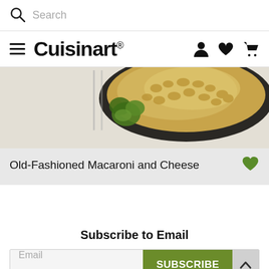Search
Cuisinart
[Figure (photo): Mac and cheese in a dark skillet with fresh parsley garnish on a white surface]
Old-Fashioned Macaroni and Cheese
Subscribe to Email
Email  SUBSCRIBE